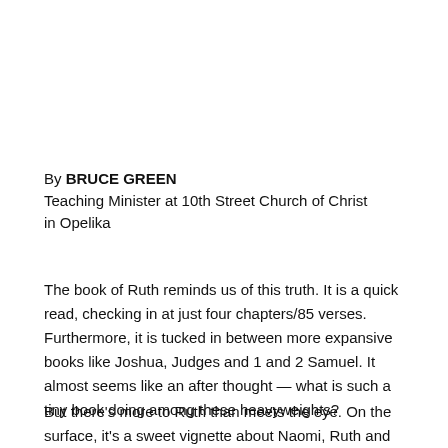By BRUCE GREEN
Teaching Minister at 10th Street Church of Christ
in Opelika
The book of Ruth reminds us of this truth. It is a quick read, checking in at just four chapters/85 verses. Furthermore, it is tucked in between more expansive books like Joshua, Judges and 1 and 2 Samuel. It almost seems like an after thought — what is such a tiny book doing among these heavyweights?
But there's more to Ruth than meets the eye. On the surface, it's a sweet vignette about Naomi, Ruth and Boaz. Naomi